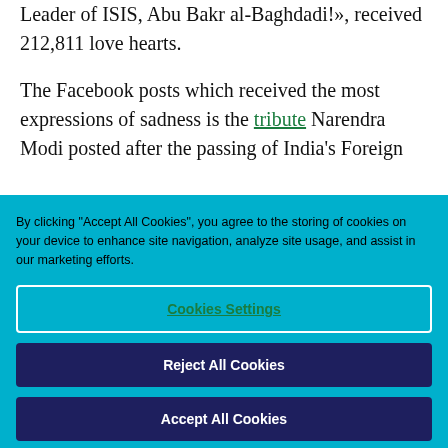Leader of ISIS, Abu Bakr al-Baghdadi!», received 212,811 love hearts.
The Facebook posts which received the most expressions of sadness is the tribute Narendra Modi posted after the passing of India's Foreign
By clicking "Accept All Cookies", you agree to the storing of cookies on your device to enhance site navigation, analyze site usage, and assist in our marketing efforts.
Cookies Settings
Reject All Cookies
Accept All Cookies